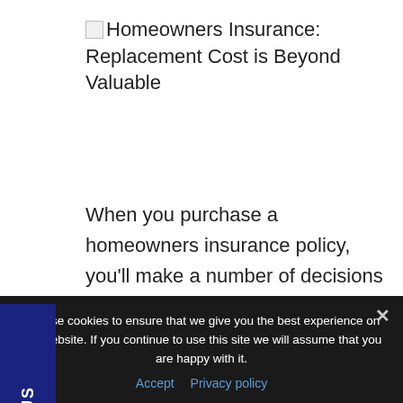Homeowners Insurance: Replacement Cost is Beyond Valuable
When you purchase a homeowners insurance policy, you’ll make a number of decisions about your coverage. One of the most important is whether to insure your home for its replacement cost or its market value. Understanding each option will help you make an informed choice that safeguards
We use cookies to ensure that we give you the best experience on our website. If you continue to use this site we will assume that you are happy with it.
Accept   Privacy policy